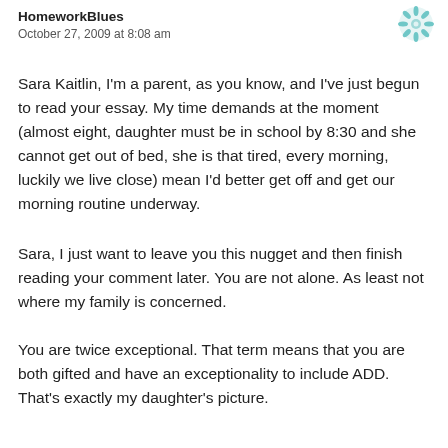HomeworkBlues
October 27, 2009 at 8:08 am
Sara Kaitlin, I'm a parent, as you know, and I've just begun to read your essay. My time demands at the moment (almost eight, daughter must be in school by 8:30 and she cannot get out of bed, she is that tired, every morning, luckily we live close) mean I'd better get off and get our morning routine underway.
Sara, I just want to leave you this nugget and then finish reading your comment later. You are not alone. As least not where my family is concerned.
You are twice exceptional. That term means that you are both gifted and have an exceptionality to include ADD. That's exactly my daughter's picture.